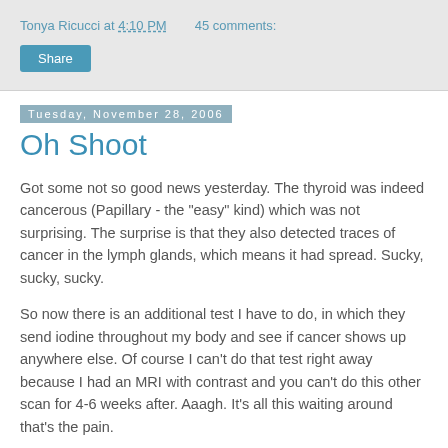Tonya Ricucci at 4:10 PM   45 comments:
Share
Tuesday, November 28, 2006
Oh Shoot
Got some not so good news yesterday. The thyroid was indeed cancerous (Papillary - the "easy" kind) which was not surprising. The surprise is that they also detected traces of cancer in the lymph glands, which means it had spread. Sucky, sucky, sucky.
So now there is an additional test I have to do, in which they send iodine throughout my body and see if cancer shows up anywhere else. Of course I can't do that test right away because I had an MRI with contrast and you can't do this other scan for 4-6 weeks after. Aaagh. It's all this waiting around that's the pain.